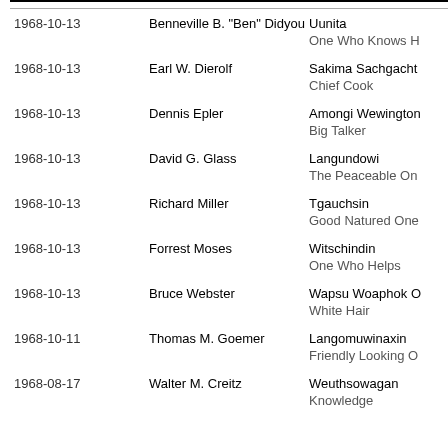| Date | Name | Indian Name / Meaning |
| --- | --- | --- |
| 1968-10-13 | Benneville B. "Ben" Didyoung | Uunita |
|  |  | One Who Knows H |
| 1968-10-13 | Earl W. Dierolf | Sakima Sachgacht |
|  |  | Chief Cook |
| 1968-10-13 | Dennis Epler | Amongi Wewington |
|  |  | Big Talker |
| 1968-10-13 | David G. Glass | Langundowi |
|  |  | The Peaceable On |
| 1968-10-13 | Richard Miller | Tgauchsin |
|  |  | Good Natured One |
| 1968-10-13 | Forrest Moses | Witschindin |
|  |  | One Who Helps |
| 1968-10-13 | Bruce Webster | Wapsu Woaphok O |
|  |  | White Hair |
| 1968-10-11 | Thomas M. Goemer | Langomuwinaxin |
|  |  | Friendly Looking O |
| 1968-08-17 | Walter M. Creitz | Weuthsowagan |
|  |  | Knowledge |